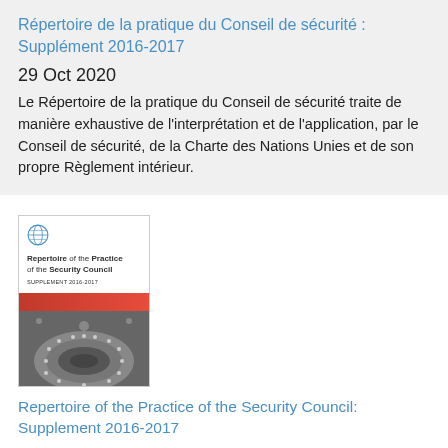Répertoire de la pratique du Conseil de sécurité: Supplément 2016-2017
29 Oct 2020
Le Répertoire de la pratique du Conseil de sécurité traite de manière exhaustive de l'interprétation et de l'application, par le Conseil de sécurité, de la Charte des Nations Unies et de son propre Règlement intérieur.
[Figure (photo): Book cover of 'Repertoire of the Practice of the Security Council: Supplement 2016-2017' showing the UN logo, title text, a red bar, and an aerial photograph of the UN Security Council chamber.]
Repertoire of the Practice of the Security Council: Supplement 2016-2017
Series: Repertoire of the Practice of the Security Council
8 Oct 2020